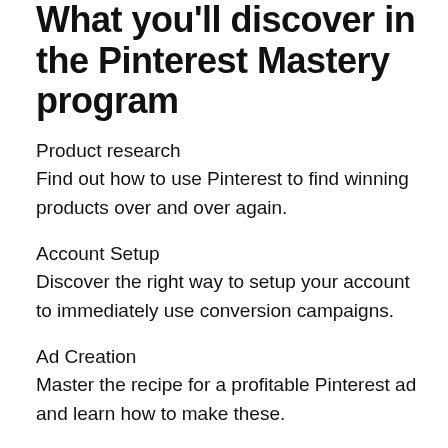What you'll discover in the Pinterest Mastery program
Product research
Find out how to use Pinterest to find winning products over and over again.
Account Setup
Discover the right way to setup your account to immediately use conversion campaigns.
Ad Creation
Master the recipe for a profitable Pinterest ad and learn how to make these.
Scaling Campaigns